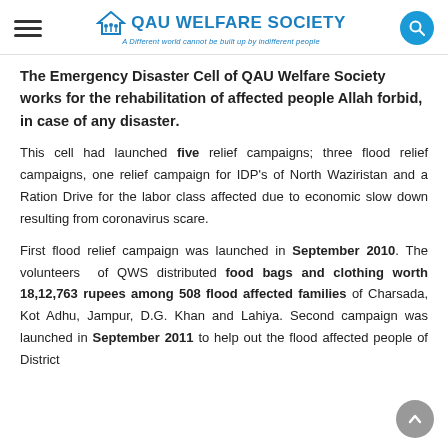QAU WELFARE SOCIETY — A Different world cannot be built up by indifferent people
The Emergency Disaster Cell of QAU Welfare Society works for the rehabilitation of affected people Allah forbid, in case of any disaster.
This cell had launched five relief campaigns; three flood relief campaigns, one relief campaign for IDP's of North Waziristan and a Ration Drive for the labor class affected due to economic slow down resulting from coronavirus scare.
First flood relief campaign was launched in September 2010. The volunteers of QWS distributed food bags and clothing worth 18,12,763 rupees among 508 flood affected families of Charsada, Kot Adhu, Jampur, D.G. Khan and Lahiya. Second campaign was launched in September 2011 to help out the flood affected people of District